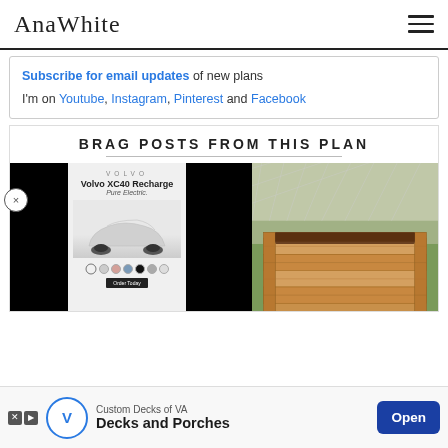Ana White
Subscribe for email updates of new plans
I'm on Youtube, Instagram, Pinterest and Facebook
BRAG POSTS FROM THIS PLAN
[Figure (photo): Image strip showing black panels, a Volvo XC40 Recharge advertisement, and a cedar raised garden planter box on grass]
[Figure (photo): Advertisement banner: Custom Decks of VA - Decks and Porches with Open button]